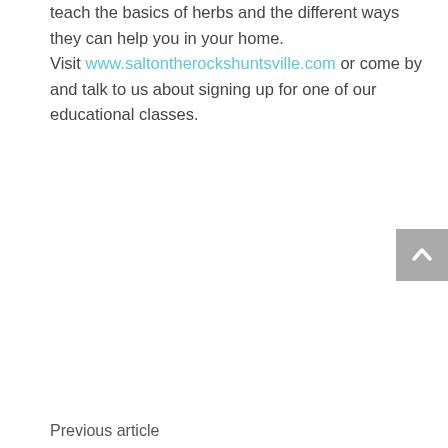teach the basics of herbs and the different ways they can help you in your home. Visit www.saltontherockshuntsville.com or come by and talk to us about signing up for one of our educational classes.
Previous article